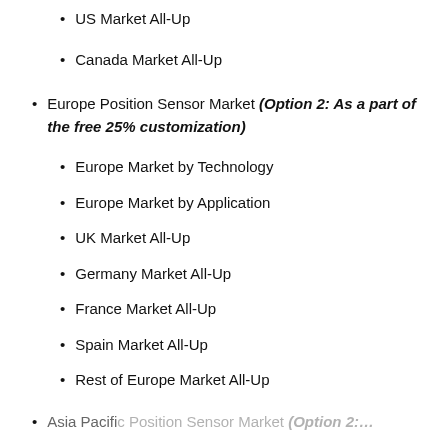US Market All-Up
Canada Market All-Up
Europe Position Sensor Market (Option 2: As a part of the free 25% customization)
Europe Market by Technology
Europe Market by Application
UK Market All-Up
Germany Market All-Up
France Market All-Up
Spain Market All-Up
Rest of Europe Market All-Up
Asia Pacific Position Sensor Market (Option 2: …)